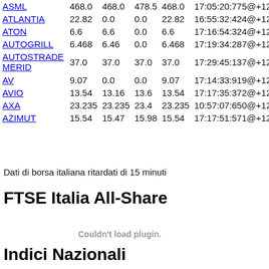| Name | Col1 | Col2 | Col3 | Col4 | Timestamp |
| --- | --- | --- | --- | --- | --- |
| ASML | 468.0 | 468.0 | 478.5 | 468.0 | 17:05:20:775@+120 |
| ATLANTIA | 22.82 | 0.0 | 0.0 | 22.82 | 16:55:32:424@+120 |
| ATON | 6.6 | 6.6 | 0.0 | 6.6 | 17:16:54:324@+120 |
| AUTOGRILL | 6.468 | 6.46 | 0.0 | 6.468 | 17:19:34:287@+120 |
| AUTOSTRADE MERID | 37.0 | 37.0 | 37.0 | 37.0 | 17:29:45:137@+120 |
| AV | 9.07 | 0.0 | 0.0 | 9.07 | 17:14:33:919@+120 |
| AVIO | 13.54 | 13.16 | 13.6 | 13.54 | 17:17:35:372@+120 |
| AXA | 23.235 | 23.235 | 23.4 | 23.235 | 10:57:07:650@+120 |
| AZIMUT | 15.54 | 15.47 | 15.98 | 15.54 | 17:17:51:571@+120 |
Dati di borsa italiana ritardati di 15 minuti
FTSE Italia All-Share
[Figure (other): Couldn't load plugin. - embedded chart plugin placeholder]
Indici Nazionali